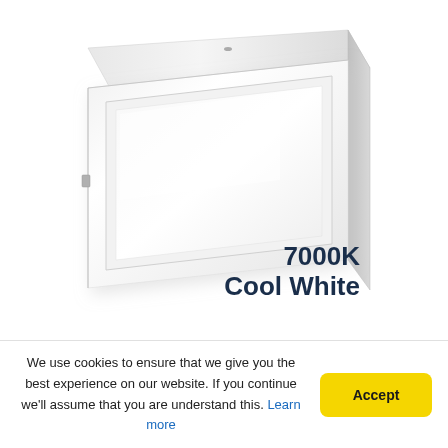[Figure (photo): A white rectangular LED panel light fixture shown in perspective view against a white background, with a flat white diffuser panel on the front and a white metal frame/housing.]
7000K
Cool White
We use cookies to ensure that we give you the best experience on our website. If you continue we'll assume that you are understand this. Learn more